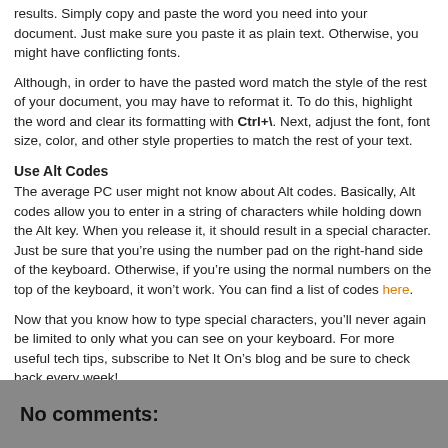results. Simply copy and paste the word you need into your document. Just make sure you paste it as plain text. Otherwise, you might have conflicting fonts.
Although, in order to have the pasted word match the style of the rest of your document, you may have to reformat it. To do this, highlight the word and clear its formatting with Ctrl+\. Next, adjust the font, font size, color, and other style properties to match the rest of your text.
Use Alt Codes
The average PC user might not know about Alt codes. Basically, Alt codes allow you to enter in a string of characters while holding down the Alt key. When you release it, it should result in a special character. Just be sure that you’re using the number pad on the right-hand side of the keyboard. Otherwise, if you’re using the normal numbers on the top of the keyboard, it won’t work. You can find a list of codes here.
Now that you know how to type special characters, you’ll never again be limited to only what you can see on your keyboard. For more useful tech tips, subscribe to Net It On’s blog and be sure to check back every week!
Dominick Brana at 11:26 AM
Share
No comments: